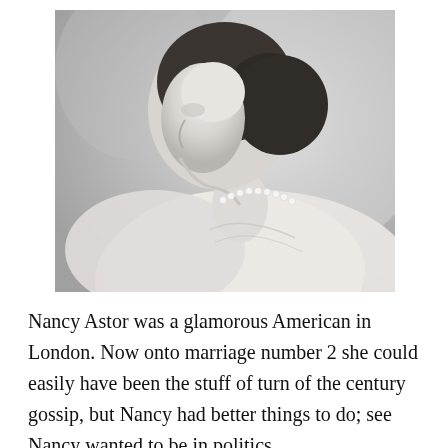[Figure (photo): Black and white profile photograph of Nancy Astor, showing her from behind and slightly to the side, wearing a pearl necklace, hair up, in an elegant early 20th century portrait style.]
Nancy Astor was a glamorous American in London. Now onto marriage number 2 she could easily have been the stuff of turn of the century gossip, but Nancy had better things to do; see Nancy wanted to be in politics.